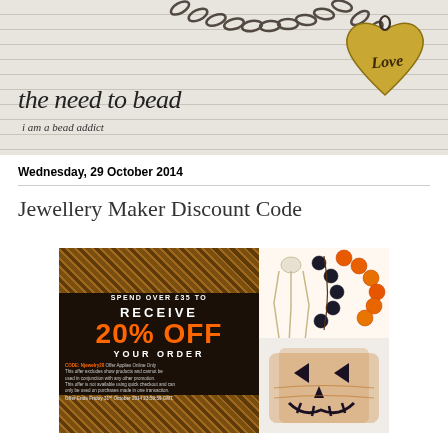[Figure (photo): Blog header banner with lined paper background, chain necklace with gold heart locket engraved 'Love', cursive text 'the need to bead' and subtitle 'i am a bead addict']
Wednesday, 29 October 2014
Jewellery Maker Discount Code
[Figure (photo): Promotional banner for Jewellery Maker: 'SPEND OVER £35 TO RECEIVE 20% OFF YOUR ORDER' with CODE: Njewelry20, alongside photos of beaded earrings, orange and black bead necklace, and jack-o-lantern woven bead ring]